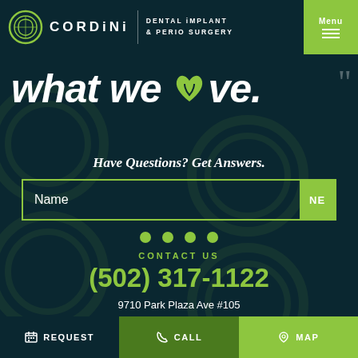CORDiNi DENTAL iMPLANT & PERIO SURGERY | Menu
what we love.
Have Questions? Get Answers.
Name  NE
CONTACT US
(502) 317-1122
9710 Park Plaza Ave #105
Louisville, KY 40241
REQUEST  CALL  MAP